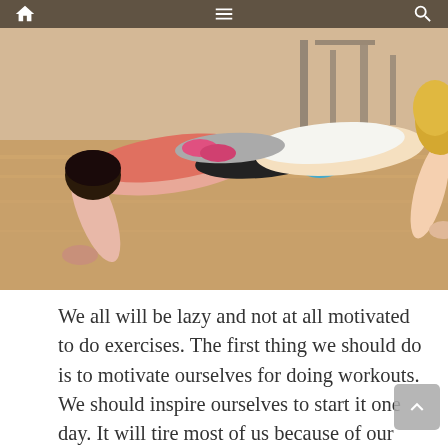home | menu | search
[Figure (photo): Two women doing push-up plank exercises on a gym floor, viewed from the side, wearing athletic clothing]
We all will be lazy and not at all motivated to do exercises. The first thing we should do is to motivate ourselves for doing workouts. We should inspire ourselves to start it one day. It will tire most of us because of our daily work and may not force ourselves into working out. But it is indeed necessary because the junk food items and the carbonated drinks we drink can cause unhealthiness to our body.
It may seem difficult to do daily workouts regularly, but once you do it constantly for about a period,